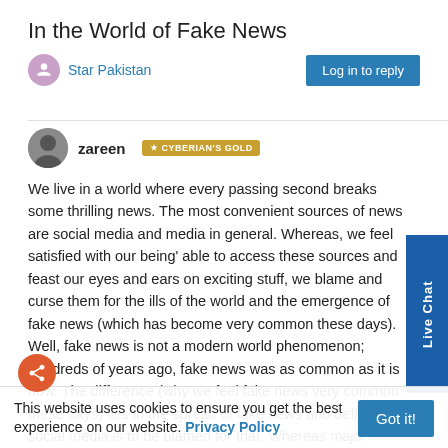In the World of Fake News
Star Pakistan
Log in to reply
zareen  CYBERIAN'S GOLD
We live in a world where every passing second breaks some thrilling news. The most convenient sources of news are social media and media in general. Whereas, we feel satisfied with our being' able to access these sources and feast our eyes and ears on exciting stuff, we blame and curse them for the ills of the world and the emergence of fake news (which has become very common these days). Well, fake news is not a modern world phenomenon; hundreds of years ago, fake news was as common as it is now. The difference (why we feel fake news very common these days) lies in the spread of fake news and definitely social media is to be blamed for that. Whereas major responsibility lies on the media houses/channels for not being able to keep their diligence causing unrest in the society due to fake news, we, as the consumers of news are equally responsible for the spread and
Live Chat
This website uses cookies to ensure you get the best experience on our website. Privacy Policy
Got it!